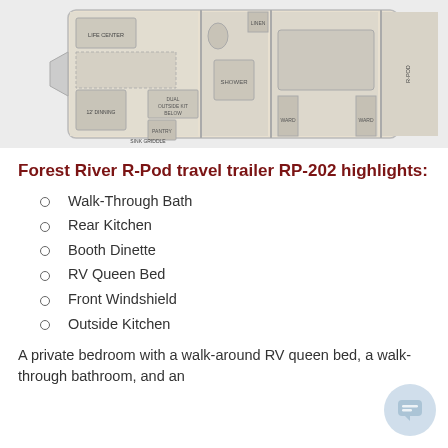[Figure (engineering-diagram): Floor plan diagram of the Forest River R-Pod travel trailer RP-202, showing top-down layout with labeled areas including bedroom with queen bed, walk-through bathroom with shower, booth dinette, rear kitchen with sink and griddle, pantry, outside kitchen, and storage areas.]
Forest River R-Pod travel trailer RP-202 highlights:
Walk-Through Bath
Rear Kitchen
Booth Dinette
RV Queen Bed
Front Windshield
Outside Kitchen
A private bedroom with a walk-around RV queen bed, a walk-through bathroom, and an